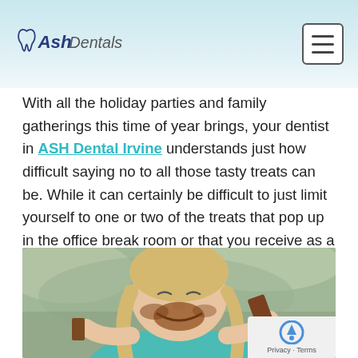Ash Dentals logo and navigation menu
With all the holiday parties and family gatherings this time of year brings, your dentist in ASH Dental Irvine understands just how difficult saying no to all those tasty treats can be. While it can certainly be difficult to just limit yourself to one or two of the treats that pop up in the office break room or that you receive as a Secret Santa gift, there are a few steps you can take to help protect your oral health from the sugar rush that comes along with the holidays.
[Figure (photo): Young child eating a large chocolate bar with chocolate smeared on her face, wearing a teal shirt, photographed outdoors]